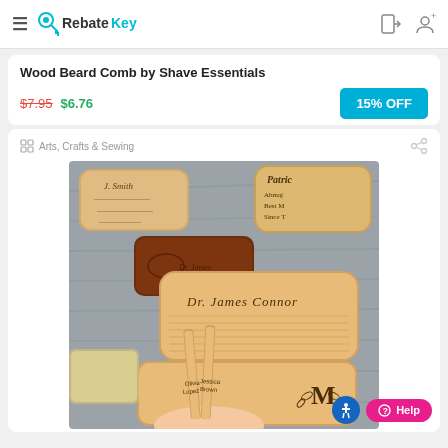RebateKey
Wood Beard Comb by Shave Essentials
$7.95  $6.76   15% OFF
Arts, Crafts & Sewing
[Figure (photo): Photo of engraved wooden combs and cases with personalized names such as Dr. James Connor, Olivia Lopez, Jessica Brown, J. Smith, Patrick, displayed on a wood-grain surface. A hand holds two personalized wooden pens.]